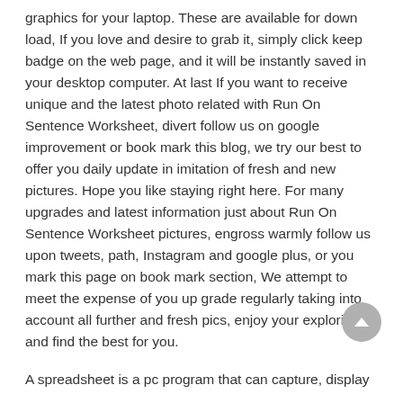graphics for your laptop. These are available for down load, If you love and desire to grab it, simply click keep badge on the web page, and it will be instantly saved in your desktop computer. At last If you want to receive unique and the latest photo related with Run On Sentence Worksheet, divert follow us on google improvement or book mark this blog, we try our best to offer you daily update in imitation of fresh and new pictures. Hope you like staying right here. For many upgrades and latest information just about Run On Sentence Worksheet pictures, engross warmly follow us upon tweets, path, Instagram and google plus, or you mark this page on book mark section, We attempt to meet the expense of you up grade regularly taking into account all further and fresh pics, enjoy your exploring, and find the best for you.
A spreadsheet is a pc program that can capture, display